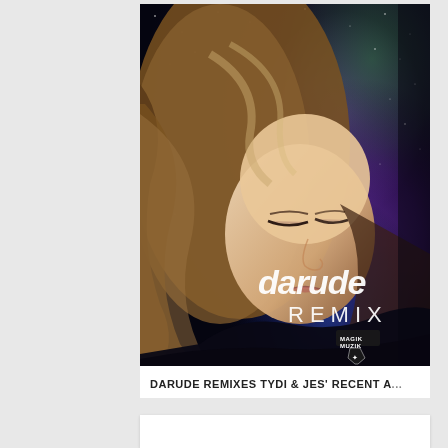[Figure (photo): Album cover art for Darude Remix — a blonde woman with eyes closed against a dark starry nebula space background. Text on the image reads 'darude REMIX' with a Magik Muzik record label logo/shield badge. Dark space imagery with purple and green nebula colors.]
DARUDE REMIXES TYDI & JES' RECENT A...